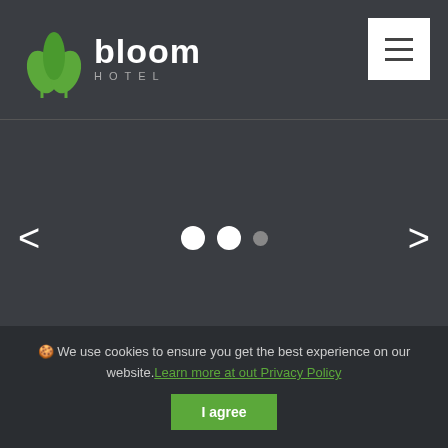[Figure (logo): Bloom Hotel logo with green leaf icon and white text reading 'bloom HOTEL']
[Figure (screenshot): Hamburger menu button (three horizontal lines) on white background in top right corner]
[Figure (screenshot): Image carousel/slider area with left arrow, navigation dots (two large white, one small gray), and right arrow on dark background]
🍪 We use cookies to ensure you get the best experience on our website. Learn more at out Privacy Policy
I agree